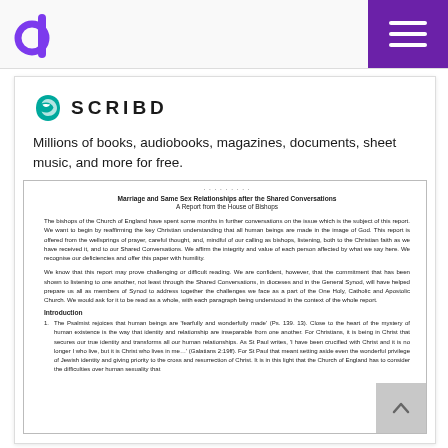[Figure (logo): Purple letter 'd' logo in top left corner of header bar]
[Figure (logo): Purple square with three white horizontal lines (hamburger menu icon) in top right corner]
[Figure (logo): Scribd logo with teal/green S-shaped icon and SCRIBD text in uppercase]
Millions of books, audiobooks, magazines, documents, sheet music, and more for free.
Marriage and Same Sex Relationships after the Shared Conversations
A Report from the House of Bishops
The bishops of the Church of England have spent some months in further conversations on the issue which is the subject of this report. We want to begin by reaffirming the key Christian understanding that all human beings are made in the image of God. This report is offered from the wellsprings of prayer, careful thought, and, mindful of our calling as bishops, listening, both to the Christian faith as we have received it, and to our Shared Conversations. We affirm the integrity and value of each person affected by what we say here. We recognise our deficiencies and offer this paper with humility.
We know that this report may prove challenging or difficult reading. We are confident, however, that the commitment that has been shown to listening to one another, not least through the Shared Conversations, in dioceses and in the General Synod, will have helped prepare us all as members of Synod to address together the challenges we face as a part of the One Holy, Catholic and Apostolic Church. We would ask for it to be read as a whole, with each paragraph being understood in the context of the whole report.
Introduction
The Psalmist rejoices that human beings are 'fearfully and wonderfully made' (Ps. 139. 13). Close to the heart of the mystery of human existence is the way that identity and relationship are inseparable from one another. For Christians, it is being in Christ that secures our true identity and transforms all our human relationships. As St Paul writes, 'I have been crucified with Christ and it is no longer I who live, but it is Christ who lives in me…' (Galatians 2:19ff). For St Paul that meant setting aside even the wonderful privilege of Jewish identity and giving priority to the cross and resurrection of Christ. It is in this light that the Church of England has to consider the difficulties over human sexuality that